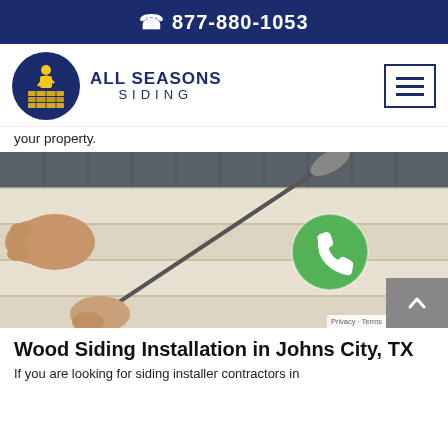📞 877-880-1053
[Figure (logo): All Seasons Siding logo with blue circle containing yellow worker figure and brick layers, and text ALL SEASONS SIDING]
your property.
[Figure (photo): Person's hands using a long-handled roller tool to paint or install white/cream textured siding panels. A green phone call button overlay is visible in the center-right. Dark grey siding visible at the top.]
Wood Siding Installation in Johns City, TX
If you are looking for siding installer contractors in